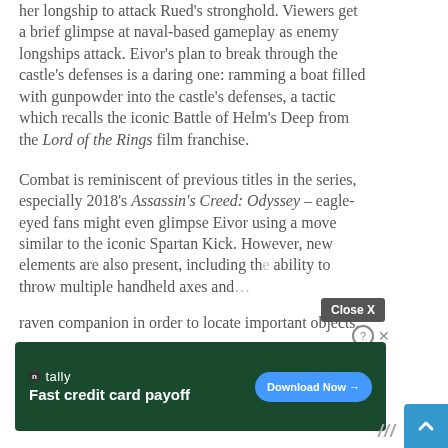her longship to attack Rued's stronghold. Viewers get a brief glimpse at naval-based gameplay as enemy longships attack. Eivor's plan to break through the castle's defenses is a daring one: ramming a boat filled with gunpowder into the castle's defenses, a tactic which recalls the iconic Battle of Helm's Deep from the Lord of the Rings film franchise.
Combat is reminiscent of previous titles in the series, especially 2018's Assassin's Creed: Odyssey – eagle-eyed fans might even glimpse Eivor using a move similar to the iconic Spartan Kick. However, new elements are also present, including the ability to throw multiple handheld axes and raven companion in order to locate important objects.
[Figure (screenshot): Advertisement banner for Tally app: 'Fast credit card payoff' with a 'Download Now' button on a dark green background]